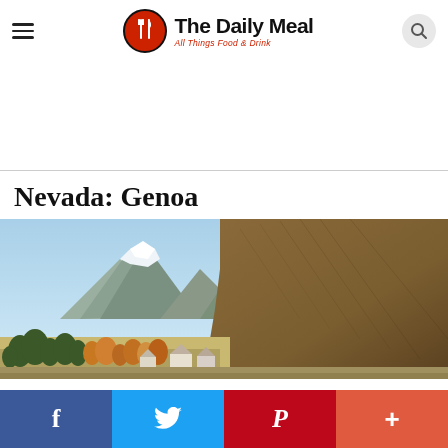The Daily Meal — All Things Food & Drink
Nevada: Genoa
[Figure (photo): Panoramic landscape of Genoa, Nevada showing snow-capped mountains in the background, a large brown hillside, green trees, and small buildings/houses in the valley with autumn colors]
Social share buttons: Facebook, Twitter, Pinterest, More (+)